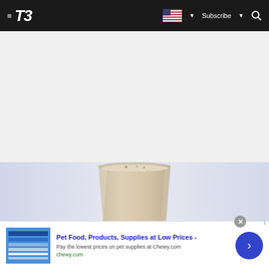T3 — Subscribe
[Figure (photo): A tall glass filled with a creamy beige/tan smoothie or protein shake, photographed against a light grey-blue background. The glass is clear and the drink fills it nearly to the top.]
Pet Food, Products, Supplies at Low Prices - Pay the lowest prices on pet supplies at Chewy.com chewy.com